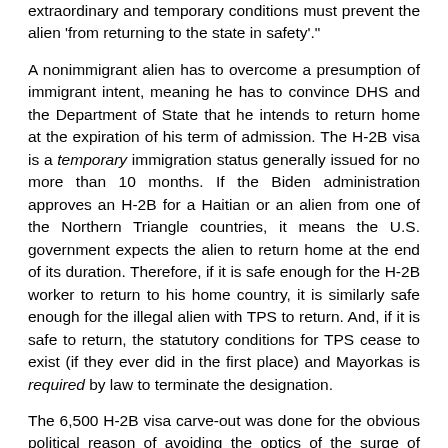extraordinary and temporary conditions must prevent the alien 'from returning to the state in safety'."
A nonimmigrant alien has to overcome a presumption of immigrant intent, meaning he has to convince DHS and the Department of State that he intends to return home at the expiration of his term of admission. The H-2B visa is a temporary immigration status generally issued for no more than 10 months. If the Biden administration approves an H-2B for a Haitian or an alien from one of the Northern Triangle countries, it means the U.S. government expects the alien to return home at the end of its duration. Therefore, if it is safe enough for the H-2B worker to return to his home country, it is similarly safe enough for the illegal alien with TPS to return. And, if it is safe to return, the statutory conditions for TPS cease to exist (if they ever did in the first place) and Mayorkas is required by law to terminate the designation.
The 6,500 H-2B visa carve-out was done for the obvious political reason of avoiding the optics of the surge of Haitians and Northern Triangle illegal aliens crossing the southern border. In an attempt to minimize the public fallout for its failed border policies, DHS has exposed its unlawful use of TPS as a political carrot to the advocates of unlimited immigration.